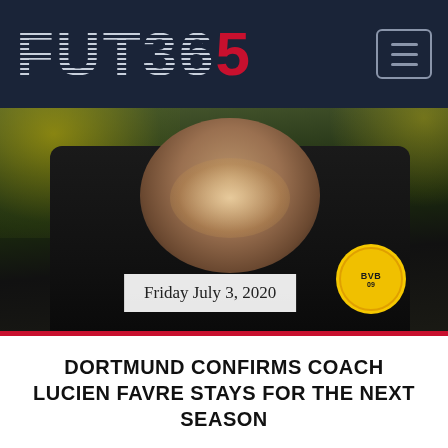FUT365
[Figure (photo): Lucien Favre smiling, wearing Borussia Dortmund black jacket with BVB 09 badge, in stadium setting with yellow/green blurred background]
Friday July 3, 2020
DORTMUND CONFIRMS COACH LUCIEN FAVRE STAYS FOR THE NEXT SEASON
Following Bundesliga's last Gameweek, and, consequently, Borussia Dortmund's last season